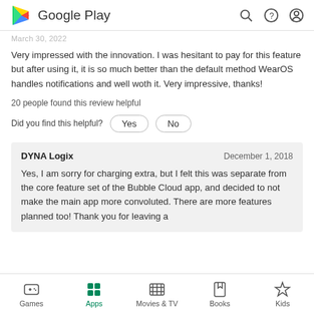Google Play
March 30, 2022
Very impressed with the innovation. I was hesitant to pay for this feature but after using it, it is so much better than the default method WearOS handles notifications and well woth it. Very impressive, thanks!
20 people found this review helpful
Did you find this helpful?
DYNA Logix    December 1, 2018
Yes, I am sorry for charging extra, but I felt this was separate from the core feature set of the Bubble Cloud app, and decided to not make the main app more convoluted. There are more features planned too! Thank you for leaving a
Games  Apps  Movies & TV  Books  Kids